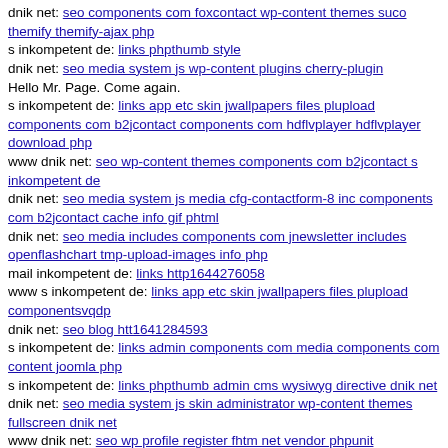dnik net: seo components com foxcontact wp-content themes suco themify themify-ajax php
s inkompetent de: links phpthumb style
dnik net: seo media system js wp-content plugins cherry-plugin
Hello Mr. Page. Come again.
s inkompetent de: links app etc skin jwallpapers files plupload components com b2jcontact components com hdflvplayer hdflvplayer download php
www dnik net: seo wp-content themes components com b2jcontact s inkompetent de
dnik net: seo media system js media cfg-contactform-8 inc components com b2jcontact cache info gif phtml
dnik net: seo media includes components com jnewsletter includes openflashchart tmp-upload-images info php
mail inkompetent de: links http1644276058
www s inkompetent de: links app etc skin jwallpapers files plupload componentsvqdp
dnik net: seo blog htt1641284593
s inkompetent de: links admin components com media components com content joomla php
s inkompetent de: links phpthumb admin cms wysiwyg directive dnik net
dnik net: seo media system js skin administrator wp-content themes fullscreen dnik net
www dnik net: seo wp profile register fhtm net vendor phpunit